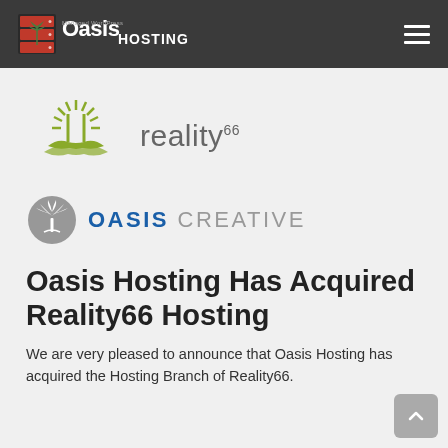Oasis Managed WordPress Hosting
[Figure (logo): Reality66 logo: olive/yellow-green stylized palm tree with radiating lines, text 'reality66' in gray with superscript '66']
[Figure (logo): Oasis Creative logo: gray circular palm tree emblem, text 'OASIS' in blue bold uppercase and 'CREATIVE' in gray uppercase]
Oasis Hosting Has Acquired Reality66 Hosting
We are very pleased to announce that Oasis Hosting has acquired the Hosting Branch of Reality66.